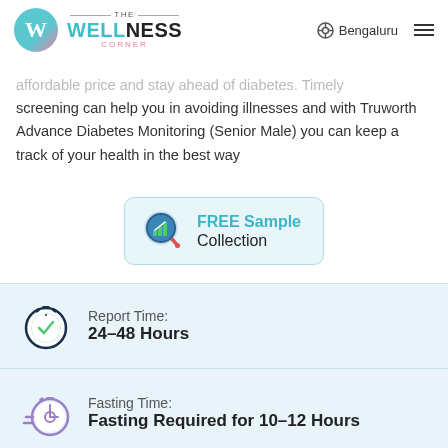The Wellness Corner | Bengaluru
affordable price and stay ahead of diabetes. Timely screening can help you in avoiding illnesses and with Truworth Advance Diabetes Monitoring (Senior Male) you can keep a track of your health in the best way
[Figure (infographic): FREE Sample Collection button with bar chart/magnifier icon]
Report Time: 24-48 Hours
Fasting Time: Fasting Required for 10-12 Hours